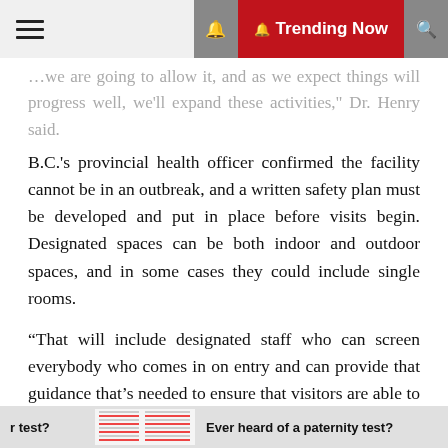☰  🔔 Trending Now 🔍
...we are going to allow it, and as we expect things will progress well, we'll expand these activities," Dr. Henry said.
B.C.'s provincial health officer confirmed the facility cannot be in an outbreak, and a written safety plan must be developed and put in place before visits begin. Designated spaces can be both indoor and outdoor spaces, and in some cases they could include single rooms.
“That will include designated staff who can screen everybody who comes in on entry and can provide that guidance that’s needed to ensure that visitors are able to do so safely,” Dr. Henry said.
Visitors must bring and appropriately wear a mask, which they will get training on, and all visits must be booked in
r test?   Ever heard of a paternity test?